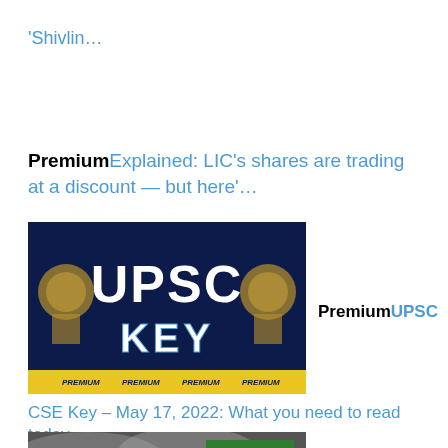'Shivlin…
PremiumExplained: LIC's shares are trading at a discount — but here'…
[Figure (photo): UPSC Key logo on dark navy background with Ashoka emblem on both sides and 'PREMIUM' text at the bottom in yellow strip]
PremiumUPSC
CSE Key – May 17, 2022: What you need to read today
[Figure (photo): Dark cloudy sky image with 'EVERYDAY CLIMATE' text overlay in green box at top right]